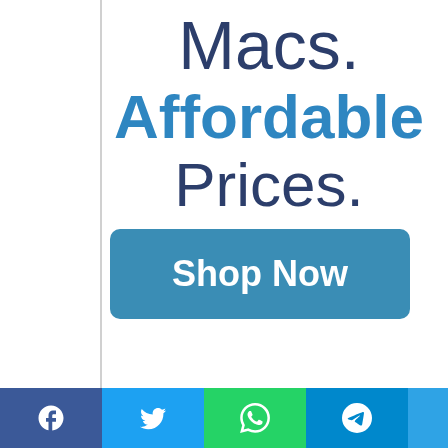Macs.
Affordable
Prices.
Shop Now
[Figure (infographic): Social media sharing bar with Facebook, Twitter, WhatsApp, and Telegram icons]